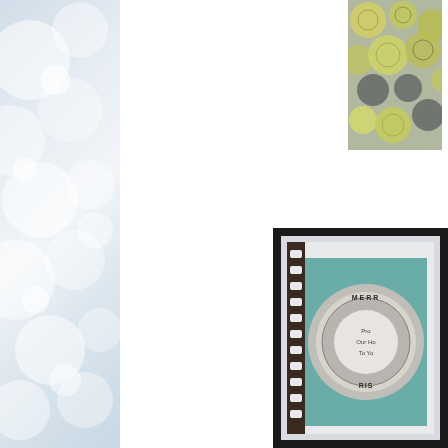[Figure (photo): Bokeh blurred circles background panel on the left side, light blue-grey tones]
[Figure (photo): Top-right floral/botanical image with yellow and green tones on a grey background]
Please can you e-mai
cinsp
The luc
RA
[Figure (photo): Craft card/stamp artwork showing a circular Christmas stamp design with text 'From Our Ho To Yo' and decorative border, in a dark frame]